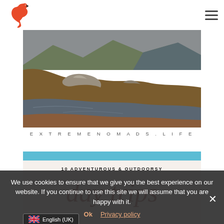Flamingo logo and hamburger menu navigation
[Figure (photo): Landscape photograph of a rocky highland hillside with orange-brown moorland vegetation and a still lake or loch in the foreground, under a grey sky. Mountains visible in background.]
EXTREMENOMADS.LIFE
[Figure (photo): Partial view of a travel blog article card with light blue header and cursive script text reading 'day trips' and bold heading '10 ADVENTUROUS & OUTDOORSY' above, and 'FROM' at the bottom.]
We use cookies to ensure that we give you the best experience on our website. If you continue to use this site we will assume that you are happy with it.
Ok   Privacy policy